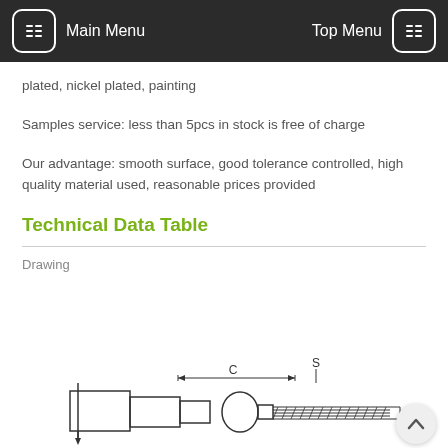Main Menu   Top Menu
plated, nickel plated, painting
Samples service: less than 5pcs in stock is free of charge
Our advantage: smooth surface, good tolerance controlled, high quality material used, reasonable prices provided
Technical Data Table
Drawing
[Figure (engineering-diagram): Technical drawing of a mechanical fastener/fitting component showing cross-section with dimension labels C and S]